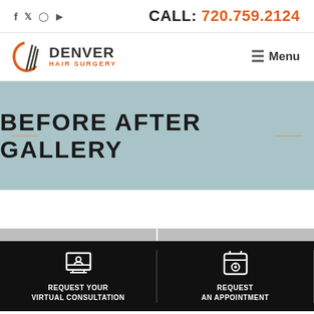CALL: 720.759.2124
[Figure (logo): Denver Hair Surgery logo with stylized hair icon]
BEFORE AFTER GALLERY
REQUEST YOUR VIRTUAL CONSULTATION
REQUEST AN APPOINTMENT